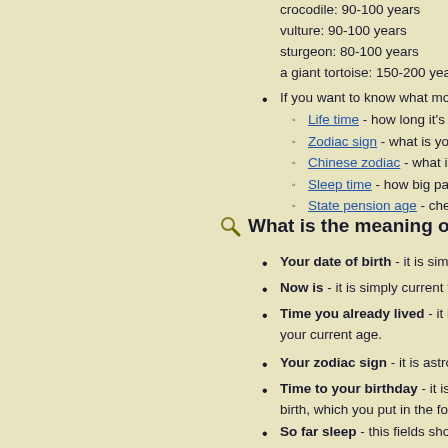crocodile: 90-100 years
vulture: 90-100 years
sturgeon: 80-100 years
a giant tortoise: 150-200 years
If you want to know what more we ca...
Life time - how long it's been si...
Zodiac sign - what is your zodia...
Chinese zodiac - what is your C...
Sleep time - how big part of you...
State pension age - check whe...
What is the meaning of each...
Your date of birth - it is simply the da...
Now is - it is simply current time and...
Time you already lived - it is a total t... your current age.
Your zodiac sign - it is astrological zo...
Time to your birthday - it is number... birth, which you put in the form.
So far sleep - this fields shows how m... from your birth to today.